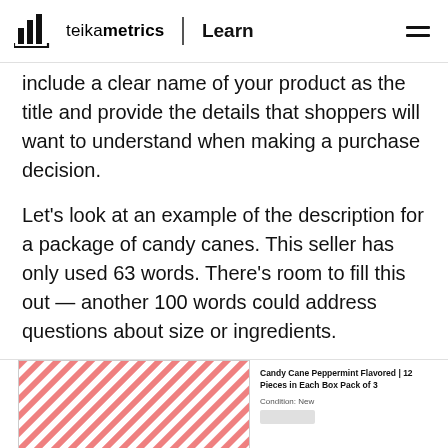teikametrics | Learn
include a clear name of your product as the title and provide the details that shoppers will want to understand when making a purchase decision.
Let's look at an example of the description for a package of candy canes. This seller has only used 63 words. There's room to fill this out — another 100 words could address questions about size or ingredients.
[Figure (screenshot): Partial screenshot of an Amazon product listing for Candy Cane Peppermint Flavored | 12 Pieces in Each Box Pack of 3, showing the product image on the left and product title and condition on the right.]